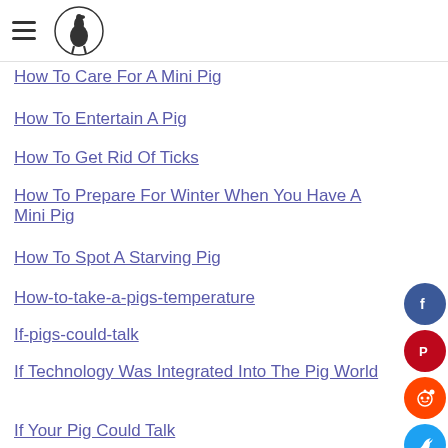[hamburger menu icon] [site logo]
How To Care For A Mini Pig
How To Entertain A Pig
How To Get Rid Of Ticks
How To Prepare For Winter When You Have A Mini Pig
How To Spot A Starving Pig
How-to-take-a-pigs-temperature
If-pigs-could-talk
If Technology Was Integrated Into The Pig World
If Your Pig Could Talk
Ignorance
Importance Of Being Prepared For Emergencies
Importance Of Staying Cool